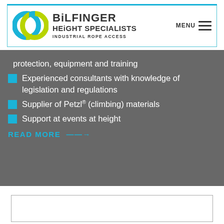BiLFINGER HEIGHT SPECIALISTS INDUSTRIAL ROPE ACCESS
protection, equipment and training
Experienced consultants with knowledge of legislation and regulations
Supplier of Petzl® (climbing) materials
Support at events at height
READ MORE ——→
[Figure (screenshot): Empty white box outline at bottom of page]